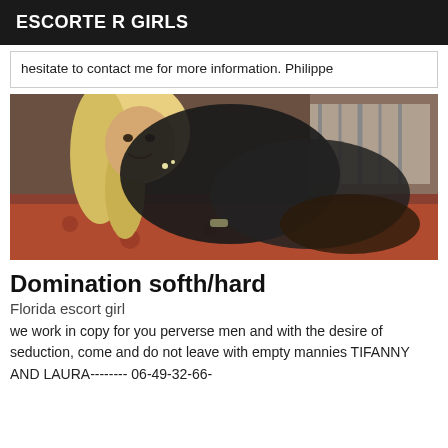ESCORTE R GIRLS
hesitate to contact me for more information. Philippe
[Figure (photo): A person with long blonde hair wearing a black outfit, posing on a patterned surface]
Domination softh/hard
Florida escort girl
we work in copy for you perverse men and with the desire of seduction, come and do not leave with empty mannies TIFANNY AND LAURA-------- 06-49-32-66-